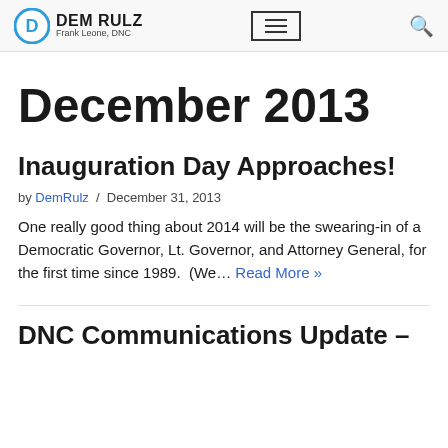DEM RULZ Frank Leone, DNC
December 2013
Inauguration Day Approaches!
by DemRulz / December 31, 2013
One really good thing about 2014 will be the swearing-in of a Democratic Governor, Lt. Governor, and Attorney General, for the first time since 1989.  (We… Read More »
DNC Communications Update –